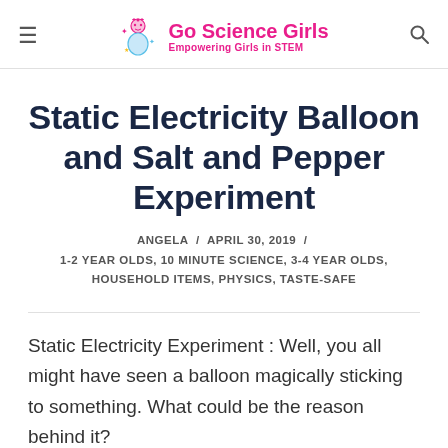Go Science Girls — Empowering Girls in STEM
Static Electricity Balloon and Salt and Pepper Experiment
ANGELA / APRIL 30, 2019 / 1-2 YEAR OLDS, 10 MINUTE SCIENCE, 3-4 YEAR OLDS, HOUSEHOLD ITEMS, PHYSICS, TASTE-SAFE
Static Electricity Experiment : Well, you all might have seen a balloon magically sticking to something. What could be the reason behind it?